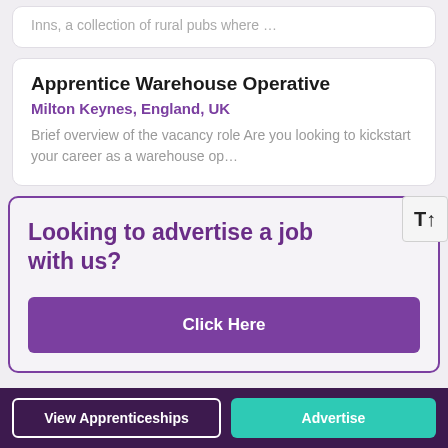Inns, a collection of rural pubs where …
Apprentice Warehouse Operative
Milton Keynes, England, UK
Brief overview of the vacancy role Are you looking to kickstart your career as a warehouse op…
Looking to advertise a job with us?
Click Here
View Apprenticeships | Advertise